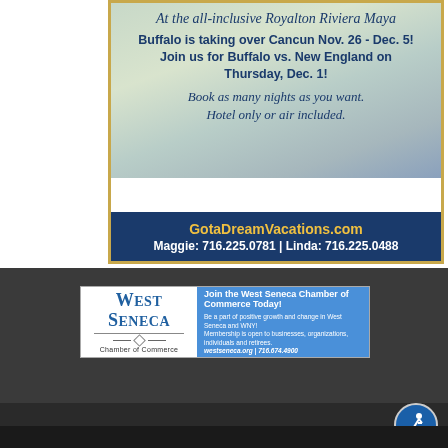[Figure (illustration): Advertisement for Royalton Riviera Maya all-inclusive resort trip for Buffalo vs. New England, Nov. 26 - Dec. 5, with contact info for GotaDreamVacations.com]
[Figure (logo): West Seneca Chamber of Commerce advertisement banner with logo and join text]
[Figure (illustration): Accessibility icon in blue circle at bottom right]